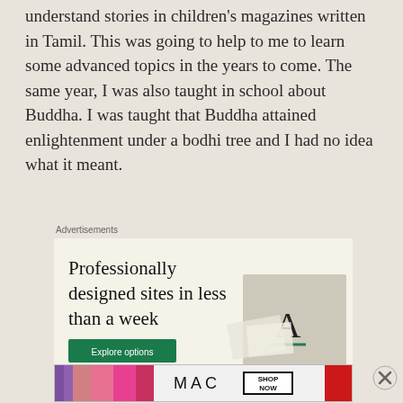understand stories in children's magazines written in Tamil. This was going to help to me to learn some advanced topics in the years to come. The same year, I was also taught in school about Buddha. I was taught that Buddha attained enlightenment under a bodhi tree and I had no idea what it meant.
Advertisements
[Figure (other): Advertisement banner: 'Professionally designed sites in less than a week' with Explore options button and decorative image with letter A]
Advertisements
[Figure (other): MAC cosmetics advertisement banner showing lipsticks and SHOP NOW button]